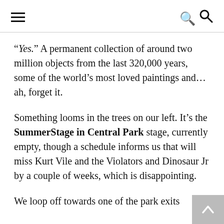[hamburger menu icon] [search icon]
“Yes.” A permanent collection of around two million objects from the last 320,000 years, some of the world’s most loved paintings and…ah, forget it.
Something looms in the trees on our left. It’s the SummerStage in Central Park stage, currently empty, though a schedule informs us that will miss Kurt Vile and the Violators and Dinosaur Jr by a couple of weeks, which is disappointing.
We loop off towards one of the park exits